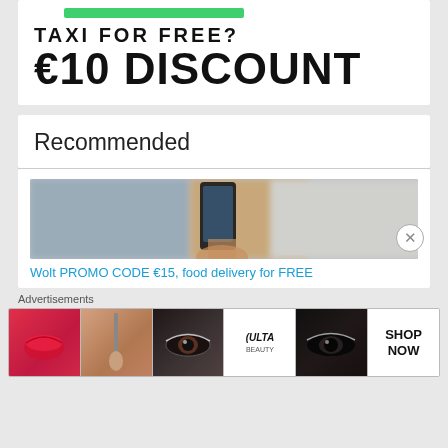[Figure (screenshot): Green button partial at top, taxi discount promotional card with text TAXI FOR FREE? and €10 DISCOUNT]
TAXI FOR FREE?
€10 DISCOUNT
Recommended
[Figure (photo): Photo of a hand holding a smartphone showing food delivery app]
Wolt PROMO CODE €15, food delivery for FREE
Advertisements
[Figure (illustration): Advertisements strip showing beauty/makeup ads including lips, brush, eye, Ulta Beauty logo, eyes, and SHOP NOW banner]